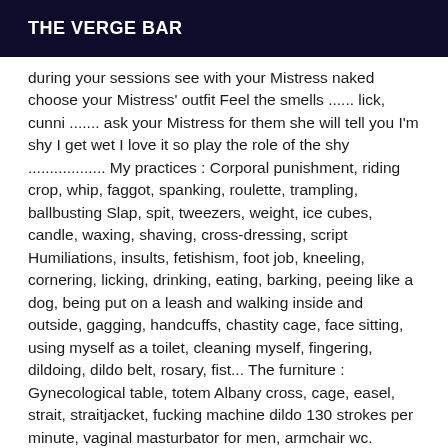THE VERGE BAR
during your sessions see with your Mistress naked choose your Mistress' outfit Feel the smells ...... lick, cunni ....... ask your Mistress for them she will tell you I'm shy I get wet I love it so play the role of the shy .................. My practices : Corporal punishment, riding crop, whip, faggot, spanking, roulette, trampling, ballbusting Slap, spit, tweezers, weight, ice cubes, candle, waxing, shaving, cross-dressing, script Humiliations, insults, fetishism, foot job, kneeling, cornering, licking, drinking, eating, barking, peeing like a dog, being put on a leash and walking inside and outside, gagging, handcuffs, chastity cage, face sitting, using myself as a toilet, cleaning myself, fingering, dildoing, dildo belt, rosary, fist... The furniture : Gynecological table, totem Albany cross, cage, easel, strait, straitjacket, fucking machine dildo 130 strokes per minute, vaginal masturbator for men, armchair wc. Training in dungeon day and night possible possible